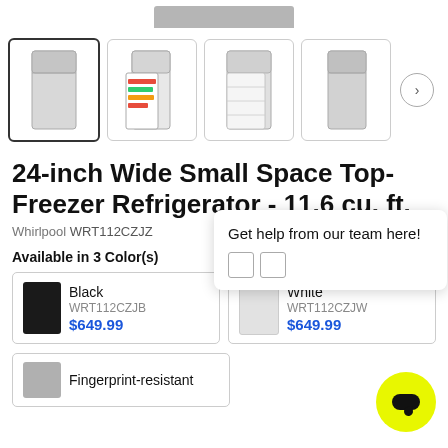[Figure (photo): Top portion of a refrigerator product image, cropped at top of page]
[Figure (photo): Four product thumbnail images of a Whirlpool top-freezer refrigerator from different angles, with a next arrow button]
24-inch Wide Small Space Top-Freezer Refrigerator - 11.6 cu. ft.
Whirlpool WRT112CZJZ
Available in 3 Color(s)
| Black | WRT112CZJB | $649.99 |
| White | WRT112CZJW | $649.99 |
Fingerprint-resistant
Get help from our team here!